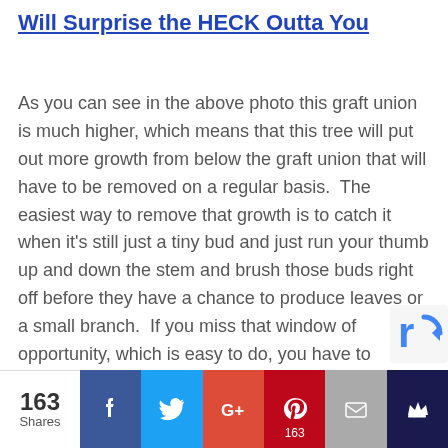Will Surprise the HECK Outta You
As you can see in the above photo this graft union is much higher, which means that this tree will put out more growth from below the graft union that will have to be removed on a regular basis.  The easiest way to remove that growth is to catch it when it's still just a tiny bud and just run your thumb up and down the stem and brush those buds right off before they have a chance to produce leaves or a small branch.  If you miss that window of opportunity, which is easy to do, you have to remove those little branches with pruners.  Cut them all the way back to the stem of the tre...